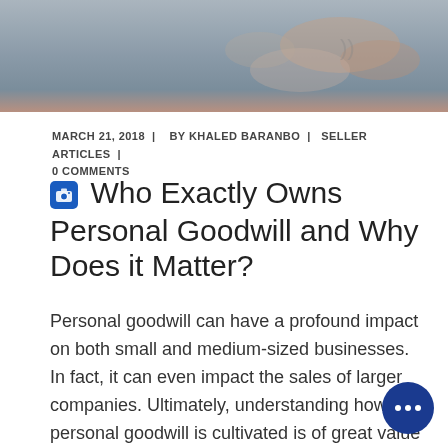[Figure (photo): Close-up photo of a person's hand or fingers against a blurred background, shown as a banner at the top of the page.]
MARCH 21, 2018  |   BY KHALED BARANBO  |   SELLER ARTICLES  |  0 COMMENTS
Who Exactly Owns Personal Goodwill and Why Does it Matter?
Personal goodwill can have a profound impact on both small and medium-sized businesses. In fact, it can even impact the sales of larger companies. Ultimately, understanding how personal goodwill is cultivated is of great value for any company